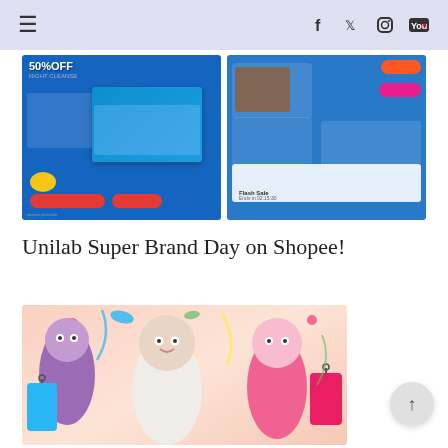Navigation bar with hamburger menu and social icons (Facebook, Twitter, Instagram, YouTube)
[Figure (photo): Two promotional images side by side showing Unilab Super Brand Day on Shopee. Left image shows blue background with '50% OFF' text and product cards. Right image shows blue background with product thumbnails and deal cards.]
Unilab Super Brand Day on Shopee!
[Figure (illustration): Colorful promotional illustration with cartoon characters, confetti, and shopping tags on a pink/peach background.]